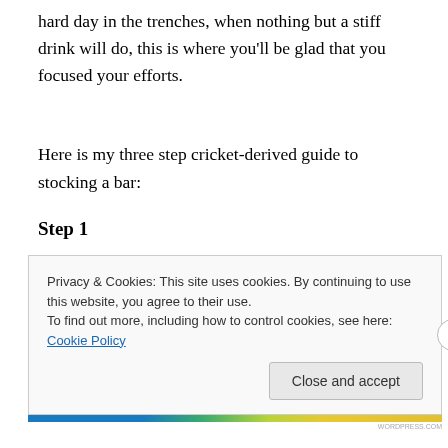hard day in the trenches, when nothing but a stiff drink will do, this is where you'll be glad that you focused your efforts.
Here is my three step cricket-derived guide to stocking a bar:
Step 1
Privacy & Cookies: This site uses cookies. By continuing to use this website, you agree to their use.
To find out more, including how to control cookies, see here: Cookie Policy
Close and accept